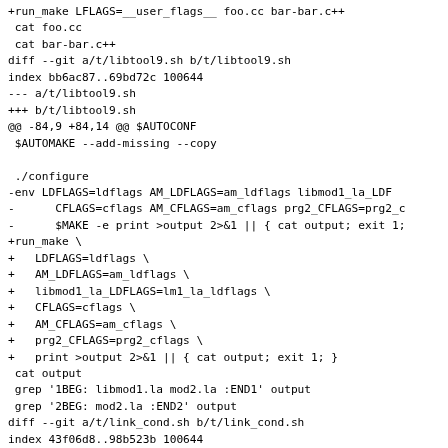+run_make LFLAGS=__user_flags__ foo.cc bar-bar.c++
 cat foo.cc
 cat bar-bar.c++
diff --git a/t/libtool9.sh b/t/libtool9.sh
index bb6ac87..69bd72c 100644
--- a/t/libtool9.sh
+++ b/t/libtool9.sh
@@ -84,9 +84,14 @@ $AUTOCONF
 $AUTOMAKE --add-missing --copy

 ./configure
-env LDFLAGS=ldflags AM_LDFLAGS=am_ldflags libmod1_la_LDF
-      CFLAGS=cflags AM_CFLAGS=am_cflags prg2_CFLAGS=prg2_c
-      $MAKE -e print >output 2>&1 || { cat output; exit 1;
+run_make \
+   LDFLAGS=ldflags \
+   AM_LDFLAGS=am_ldflags \
+   libmod1_la_LDFLAGS=lm1_la_ldflags \
+   CFLAGS=cflags \
+   AM_CFLAGS=am_cflags \
+   prg2_CFLAGS=prg2_cflags \
+   print >output 2>&1 || { cat output; exit 1; }
 cat output
 grep '1BEG: libmod1.la mod2.la :END1' output
 grep '2BEG: mod2.la :END2' output
diff --git a/t/link_cond.sh b/t/link_cond.sh
index 43f06d8..98b523b 100644
--- a/t/link_cond.sh
+++ b/t/link_cond.sh
@@ -??+??+?? @@